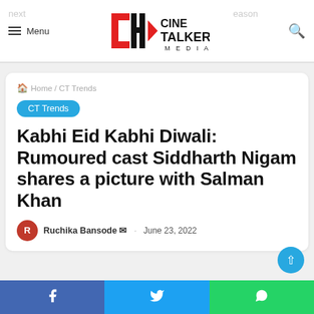Cine Talkers Media
Home / CT Trends
CT Trends
Kabhi Eid Kabhi Diwali: Rumoured cast Siddharth Nigam shares a picture with Salman Khan
Ruchika Bansode · June 23, 2022